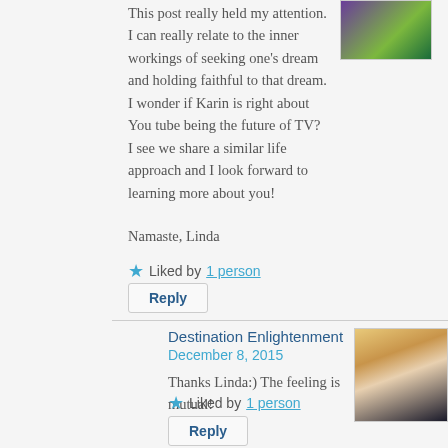This post really held my attention. I can really relate to the inner workings of seeking one's dream and holding faithful to that dream. I wonder if Karin is right about You tube being the future of TV? I see we share a similar life approach and I look forward to learning more about you!
Namaste, Linda
★ Liked by 1 person
Reply
Destination Enlightenment
December 8, 2015
Thanks Linda:) The feeling is mutual!
★ Liked by 1 person
Reply